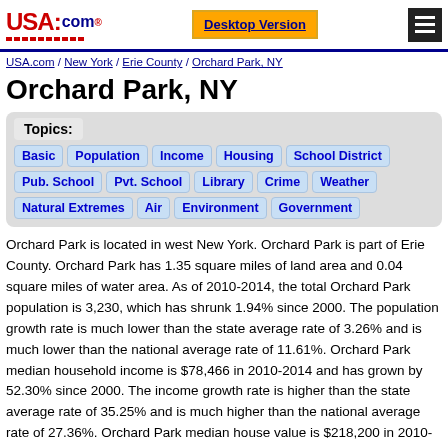USA.com — Desktop Version — Menu
USA.com / New York / Erie County / Orchard Park, NY
Orchard Park, NY
Topics: Basic Population Income Housing School District Pub. School Pvt. School Library Crime Weather Natural Extremes Air Environment Government
Orchard Park is located in west New York. Orchard Park is part of Erie County. Orchard Park has 1.35 square miles of land area and 0.04 square miles of water area. As of 2010-2014, the total Orchard Park population is 3,230, which has shrunk 1.94% since 2000. The population growth rate is much lower than the state average rate of 3.26% and is much lower than the national average rate of 11.61%. Orchard Park median household income is $78,466 in 2010-2014 and has grown by 52.30% since 2000. The income growth rate is higher than the state average rate of 35.25% and is much higher than the national average rate of 27.36%. Orchard Park median house value is $218,200 in 2010-2014 and has grown by 48.23% since 2000. The